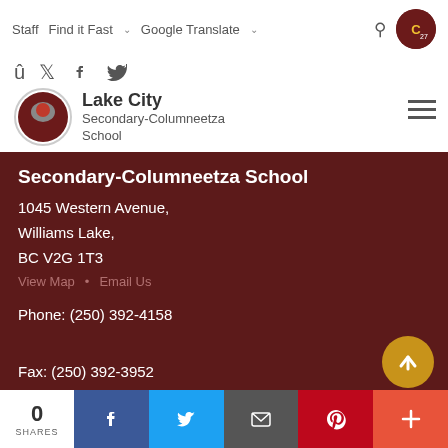Staff  Find it Fast  Google Translate
Lake City
Secondary-Columneetza School
Secondary-Columneetza School
1045 Western Avenue,
Williams Lake,
BC V2G 1T3
View Map • Email Us
Phone: (250) 392-4158

Fax: (250) 392-3952

Office Hours:
Monday - Friday
8:00 am - 3:00 pm
0 SHARES